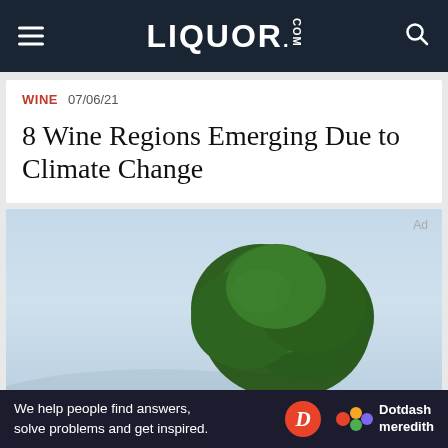LIQUOR.COM
WINE  07/06/21
8 Wine Regions Emerging Due to Climate Change
[Figure (photo): Outdoor photo of a large green deciduous tree against a hazy light blue sky, with distant misty hills in the background]
Ad
We help people find answers, solve problems and get inspired.    Dotdash meredith